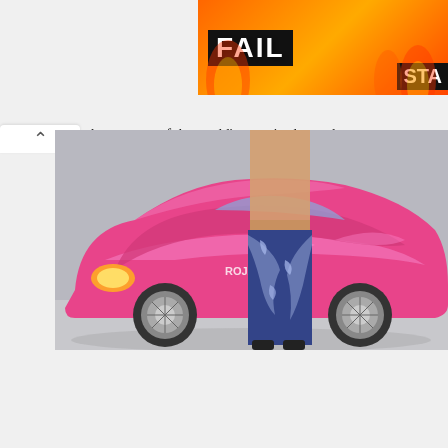[Figure (screenshot): Advertisement banner with orange/red flame background, 'FAIL' text in black box, cartoon woman covering face emoji, and 'STA' partially visible text on right side]
[Figure (photo): Photo of a person standing next to a bright pink sports car (Honda S2000 style), the person wearing patterned pants and a crop top. The car has custom pink paint with swirl designs and chrome wheels.]
HOW DID DEVON AOKI BECOME FAMOUS?
Aside from being a Benihana Heiress, Aoki is famous for being one of the shortest female models who are exceptional. She started her modelling career at age 13 and that same year was introduced by her godmother to legend Kate Moss who took her under as a mentee. At some point, she was one of the world's most in-demand